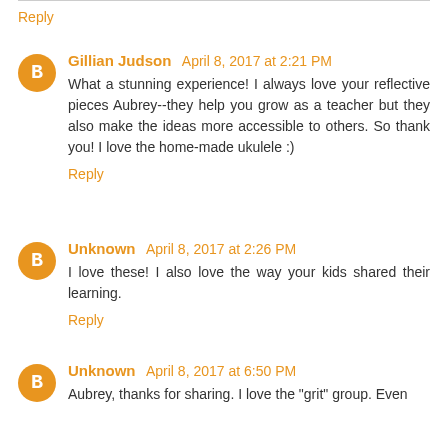Reply
Gillian Judson April 8, 2017 at 2:21 PM
What a stunning experience! I always love your reflective pieces Aubrey--they help you grow as a teacher but they also make the ideas more accessible to others. So thank you! I love the home-made ukulele :)
Reply
Unknown April 8, 2017 at 2:26 PM
I love these! I also love the way your kids shared their learning.
Reply
Unknown April 8, 2017 at 6:50 PM
Aubrey, thanks for sharing. I love the "grit" group. Even